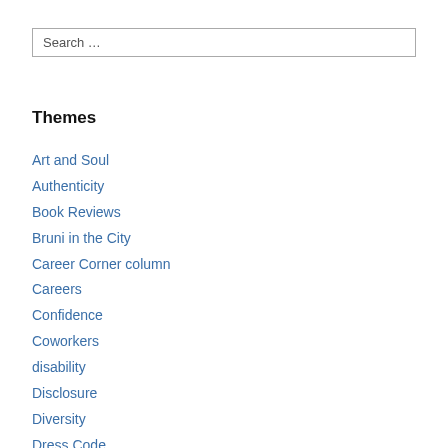Search …
Themes
Art and Soul
Authenticity
Book Reviews
Bruni in the City
Career Corner column
Careers
Confidence
Coworkers
disability
Disclosure
Diversity
Dress Code
Film Reviews
Finances